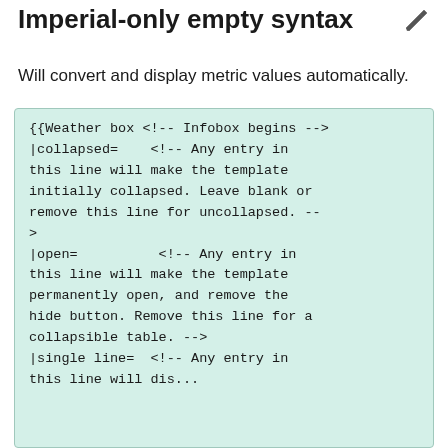Imperial-only empty syntax
Will convert and display metric values automatically.
{{Weather box <!-- Infobox begins -->
|collapsed=    <!-- Any entry in this line will make the template initially collapsed. Leave blank or remove this line for uncollapsed. -->
|open=          <!-- Any entry in this line will make the template permanently open, and remove the hide button. Remove this line for a collapsible table. -->
|single line=  <!-- Any entry in this line will dis...